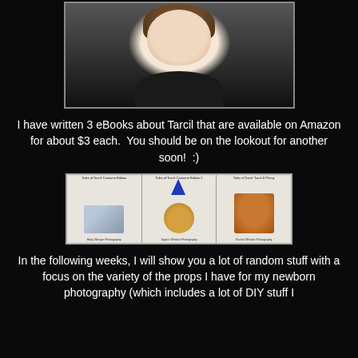[Figure (photo): Headshot photo of a smiling woman with dark curly hair wearing a black top, set against a light background]
I have written 3 eBooks about Tarcil that are available on Amazon for about $3 each.  You should be on the lookout for another soon!  :)
[Figure (photo): Three eBook covers side by side: Tales of Tarcil Costume Edition, Tales of Tarcil: Costume Edition 2 (hamster with blue party hat), and Tales of Tarcil: Tarcil & Penny (orange tabby cat)]
In the following weeks, I will show you a lot of random stuff with a focus on the variety of the props I have for my newborn photography (which includes a lot of DIY stuff I